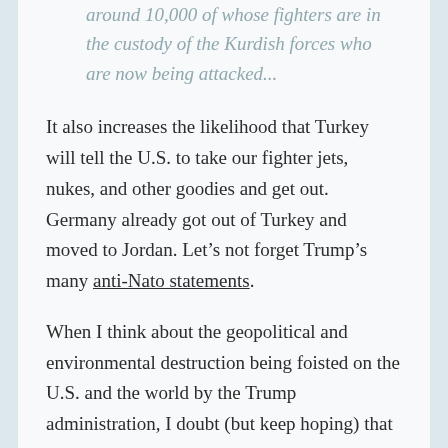around 10,000 of whose fighters are in the custody of the Kurdish forces who are now being attacked...
It also increases the likelihood that Turkey will tell the U.S. to take our fighter jets, nukes, and other goodies and get out. Germany already got out of Turkey and moved to Jordan. Let’s not forget Trump’s many anti-Nato statements.
When I think about the geopolitical and environmental destruction being foisted on the U.S. and the world by the Trump administration, I doubt (but keep hoping) that Republicans will make their way to the Land of Oz and find their brains, their hearts, and their courage. This is about not overturning the results of the 2016 election. It is a rational response to the psychic trauma and